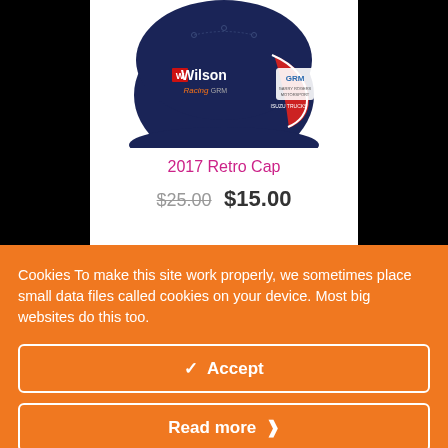[Figure (photo): Wilson Racing GRM navy blue cap with Wilson Racing GRM logo on front and GRM Garry Rogers Motorsport logo on side, on white background]
2017 Retro Cap
$25.00 $15.00
Cookies To make this site work properly, we sometimes place small data files called cookies on your device. Most big websites do this too.
✓ Accept
Read more ❮❯
Change Settings ⚙
[Figure (photo): Partial view of Wilson Racing product at bottom of page, cut off by page edge]